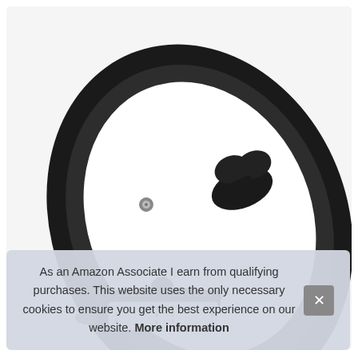[Figure (photo): Product photo of a round glass pot/pan lid with a black silicone rim and a black knob handle on top. A small metal steam vent is visible. Below the main large lid is a smaller lid shown resting on a pan with a red dashed rectangle overlay.]
As an Amazon Associate I earn from qualifying purchases. This website uses the only necessary cookies to ensure you get the best experience on our website. More information